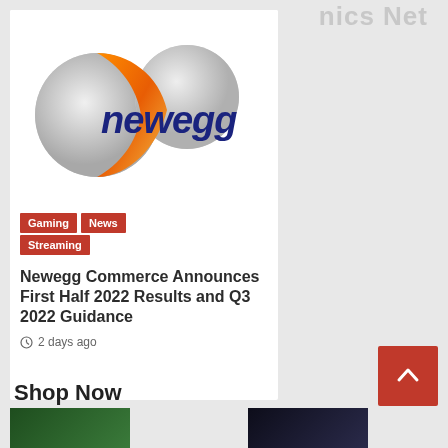nics Net
[Figure (logo): Newegg logo with orange crescent and globe shapes and blue italic newegg text]
Gaming
News
Streaming
Newegg Commerce Announces First Half 2022 Results and Q3 2022 Guidance
2 days ago
Shop Now
[Figure (photo): Thumbnail image with green background]
[Figure (photo): Thumbnail image with dark background]